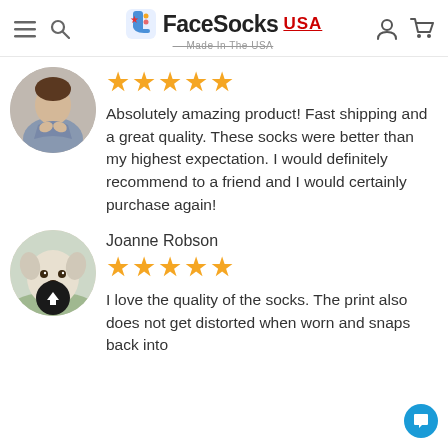FaceSocks USA — Made In The USA
[Figure (photo): Circular avatar photo of a person in a denim jacket holding something]
★★★★★
Absolutely amazing product! Fast shipping and a great quality. These socks were better than my highest expectation. I would definitely recommend to a friend and I would certainly purchase again!
Joanne Robson
★★★★★
[Figure (photo): Circular avatar photo of a white/cream colored puppy dog]
I love the quality of the socks. The print also does not get distorted when worn and snaps back into